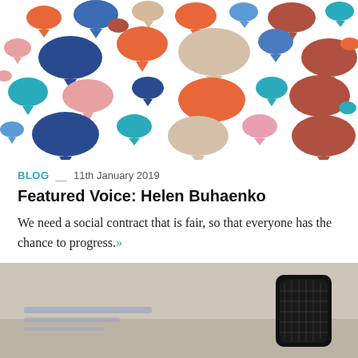[Figure (illustration): Colorful speech bubbles of various sizes and colors (orange, blue, teal, red-brown, pink, beige) scattered across a white background]
BLOG  __  11th January 2019
Featured Voice: Helen Buhaenko
We need a social contract that is fair, so that everyone has the chance to progress.»
[Figure (photo): Blurred photo of a black microphone on a desk with blurred text/paper in the background]